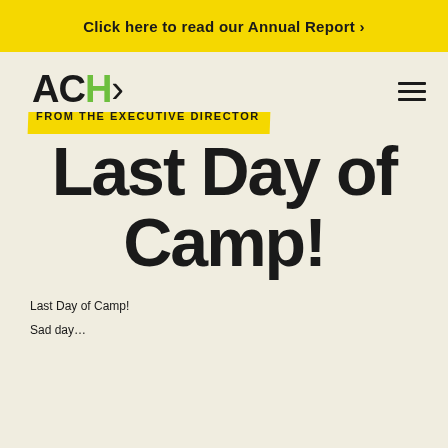Click here to read our Annual Report ›
[Figure (logo): ACH› logo with green H, followed by 'FROM THE EXECUTIVE DIRECTOR' subtitle on yellow highlight]
Last Day of Camp!
Last Day of Camp!
Sad day…